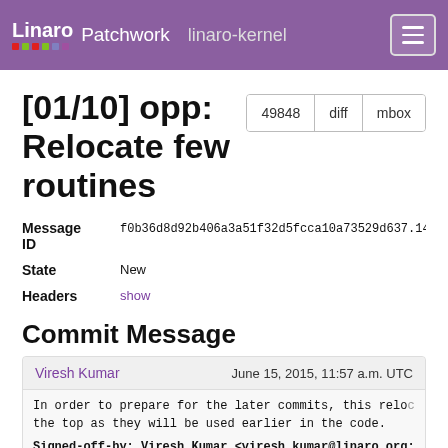Linaro Patchwork linaro-kernel
[01/10] opp: Relocate few routines
| Field | Value |
| --- | --- |
| Message ID | f0b36d8d92b406a3a51f32d5fcca10a73529d637.14343... |
| State | New |
| Headers | show |
Commit Message
Viresh Kumar   June 15, 2015, 11:57 a.m. UTC
In order to prepare for the later commits, this reloc the top as they will be used earlier in the code.
Signed-off-by: Viresh Kumar <viresh.kumar@linaro.org: